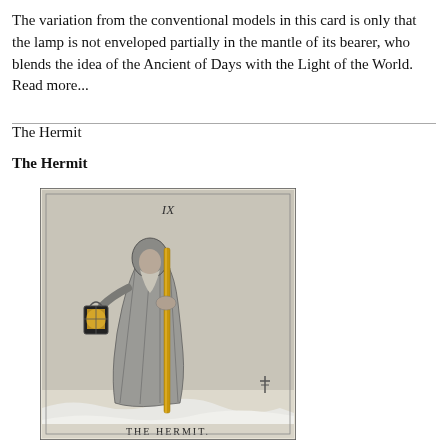The variation from the conventional models in this card is only that the lamp is not enveloped partially in the mantle of its bearer, who blends the idea of the Ancient of Days with the Light of the World. Read more...
The Hermit
The Hermit
[Figure (illustration): Tarot card IX — The Hermit: an elderly robed figure holding a glowing lantern in his left hand and a tall golden staff in his right, standing on a snowy mountain peak. At the bottom the text reads 'THE HERMIT.']